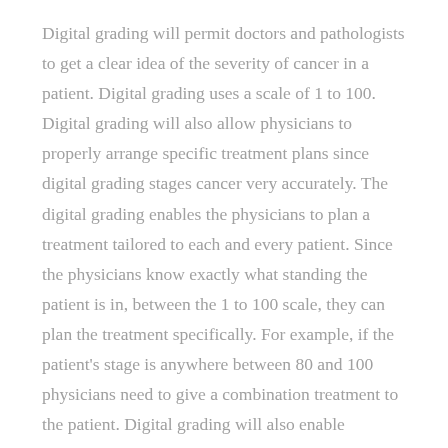Digital grading will permit doctors and pathologists to get a clear idea of the severity of cancer in a patient. Digital grading uses a scale of 1 to 100. Digital grading will also allow physicians to properly arrange specific treatment plans since digital grading stages cancer very accurately. The digital grading enables the physicians to plan a treatment tailored to each and every patient. Since the physicians know exactly what standing the patient is in, between the 1 to 100 scale, they can plan the treatment specifically. For example, if the patient's stage is anywhere between 80 and 100 physicians need to give a combination treatment to the patient. Digital grading will also enable physicians to monitor the progress shown by various methods of treatment.
1.5 Summary
Mortality rates have increased due to cancer in a span of